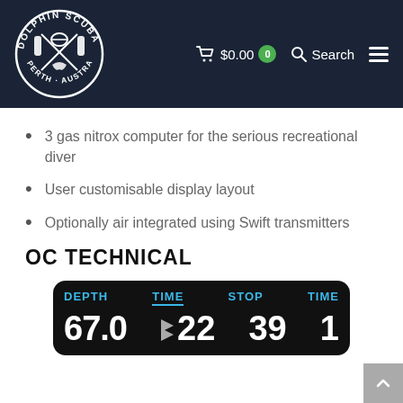[Figure (logo): Dolphin Scuba Perth Australia circular logo in white on dark navy background]
$0.00  0  Search
3 gas nitrox computer for the serious recreational diver
User customisable display layout
Optionally air integrated using Swift transmitters
OC TECHNICAL
[Figure (screenshot): Dive computer display showing DEPTH 67.0, TIME 22, STOP 39, TIME 1 in blue and white text on black background]